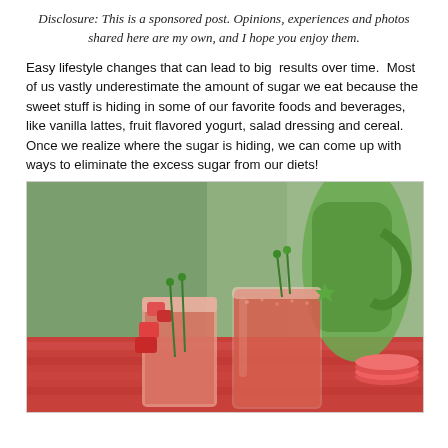Disclosure: This is a sponsored post. Opinions, experiences and photos shared here are my own, and I hope you enjoy them.
Easy lifestyle changes that can lead to big results over time. Most of us vastly underestimate the amount of sugar we eat because the sweet stuff is hiding in some of our favorite foods and beverages, like vanilla lattes, fruit flavored yogurt, salad dressing and cereal. Once we realize where the sugar is hiding, we can come up with ways to eliminate the excess sugar from our diets!
[Figure (photo): Two tall glasses of red/pink watermelon drink garnished with watermelon chunks on skewers and a star-shaped fruit garnish, with a green pitcher in the background, on a red striped surface.]